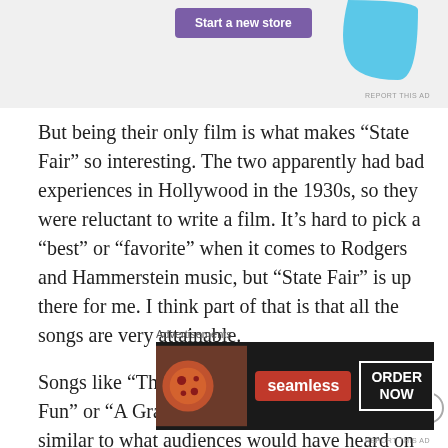[Figure (screenshot): Top advertisement banner with purple 'Start a new store' button and light blue shape on the right]
But being their only film is what makes “State Fair” so interesting. The two apparently had bad experiences in Hollywood in the 1930s, so they were reluctant to write a film. It’s hard to pick a “best” or “favorite” when it comes to Rodgers and Hammerstein music, but “State Fair” is up there for me. I think part of that is that all the songs are very attainable.
Songs like “That’s For Me,” “Isn’t it Kind of Fun” or “A Grand Night for Singing” are all similar to what audiences would have heard on the radio as pop standards. And this
Advertisements
[Figure (photo): Seamless food delivery advertisement with pizza image, seamless logo, and ORDER NOW button on dark background]